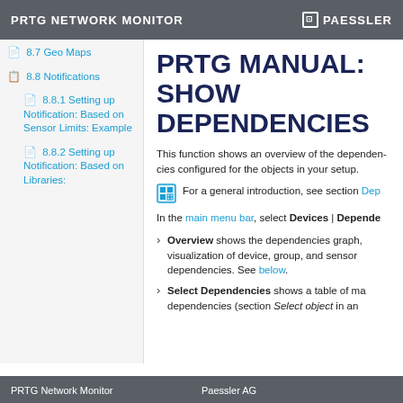PRTG NETWORK MONITOR | PAESSLER
8.7 Geo Maps
8.8 Notifications
8.8.1 Setting up Notification: Based on Sensor Limits: Example
8.8.2 Setting up Notification: Based on Libraries:
PRTG MANUAL: SHOW DEPENDENCIES
This function shows an overview of the dependencies configured for the objects in your setup.
For a general introduction, see section Dep
In the main menu bar, select Devices | Depende
Overview shows the dependencies graph, visualization of device, group, and sensor dependencies. See below.
Select Dependencies shows a table of ma dependencies (section Select object in an
PRTG Network Monitor | Paessler AG